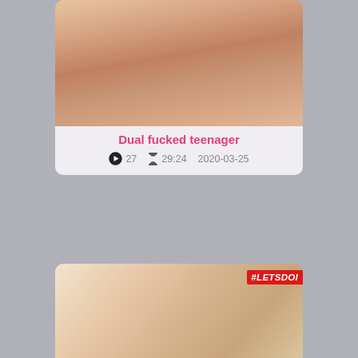[Figure (photo): Partial video thumbnail for 'Dual fucked teenager' — adult content thumbnail cropped at top]
Dual fucked teenager
27   29:24   2020-03-25
[Figure (photo): Video thumbnail for 'WhiteBoxxx - Ginebra Bellucci' with #LETSDOEIT watermark — adult content thumbnail]
WhiteBoxxx - Ginebra Bellucci
166   14:00   2021-05-21
[Figure (photo): Partial video thumbnail at bottom of page — adult content, partially cropped]